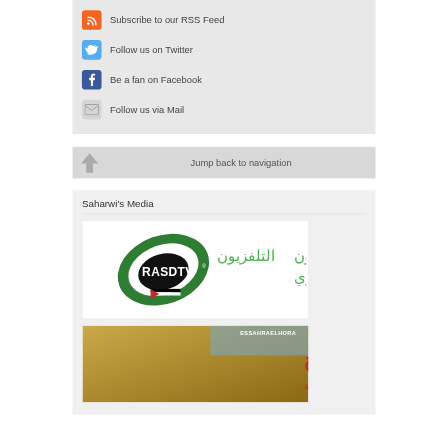Subscribe to our RSS Feed
Follow us on Twitter
Be a fan on Facebook
Follow us via Mail
Jump back to navigation
Saharwi's Media
[Figure (logo): RASD TV - التلفزيون الصحراوي logo with green/black swoosh design]
[Figure (logo): Essahrae El Hora - الصحراء الحرة newspaper logo in Arabic with gold/desert background]